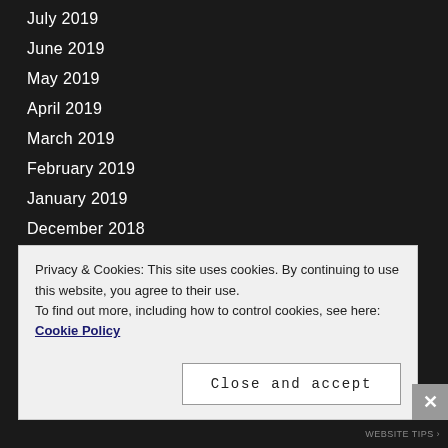July 2019
June 2019
May 2019
April 2019
March 2019
February 2019
January 2019
December 2018
November 2018
October 2018
September 2018
August 2018
Privacy & Cookies: This site uses cookies. By continuing to use this website, you agree to their use.
To find out more, including how to control cookies, see here: Cookie Policy
Close and accept
WEBSITE TIPS